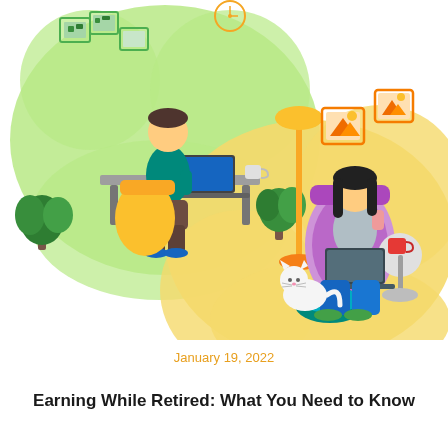[Figure (illustration): Two illustrated scenes of people working from home. Top-left: a man in a teal shirt and brown pants sits at a desk with a laptop in a green blob-shaped scene with houseplants and picture frames on the wall. Bottom-right: a woman with long dark hair sits in a large magenta chair with a laptop, a white cat nearby, a yellow floor lamp, picture frames on the wall, and a side table with a red mug, set in a yellow blob-shaped scene.]
January 19, 2022
Earning While Retired: What You Need to Know